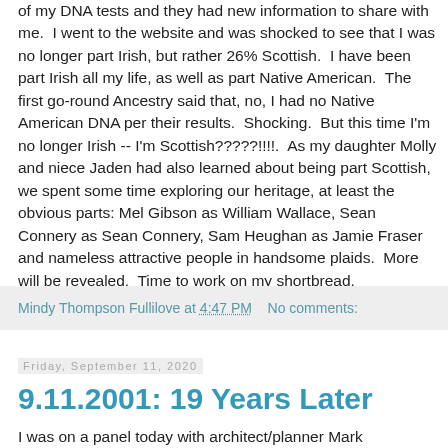of my DNA tests and they had new information to share with me.  I went to the website and was shocked to see that I was no longer part Irish, but rather 26% Scottish.  I have been part Irish all my life, as well as part Native American.  The first go-round Ancestry said that, no, I had no Native American DNA per their results.  Shocking.  But this time I'm no longer Irish -- I'm Scottish?????!!!!.  As my daughter Molly and niece Jaden had also learned about being part Scottish, we spent some time exploring our heritage, at least the obvious parts: Mel Gibson as William Wallace, Sean Connery as Sean Connery, Sam Heughan as Jamie Fraser and nameless attractive people in handsome plaids.  More will be revealed.  Time to work on my shortbread.
Mindy Thompson Fullilove at 4:47 PM    No comments:
Friday, September 11, 2020
9.11.2001: 19 Years Later
I was on a panel today with architect/planner Mark